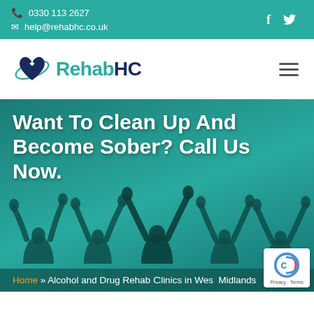0330 113 2627 | help@rehabhc.co.uk
[Figure (logo): RehabHC logo with teal heart and plus sign, text Rehab in teal and HC in dark navy blue]
[Figure (photo): Hero banner with silhouettes of people with raised hands against a teal background, with large bold white text reading: Want To Clean Up And Become Sober? Call Us Now.]
Home » Alcohol and Drug Rehab Clinics in West Midlands